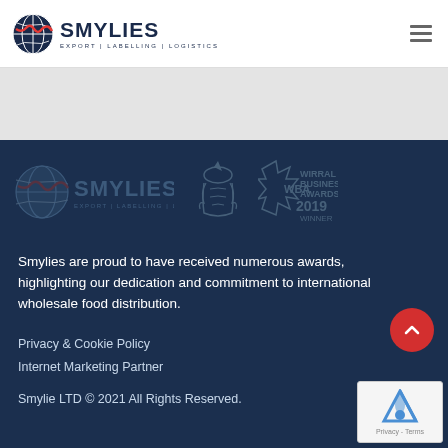SMYLIES EXPORT | LABELLING | LOGISTICS
[Figure (logo): Smylies logo with globe icon, company name and award logos in footer]
Smylies are proud to have received numerous awards, highlighting our dedication and commitment to international wholesale food distribution.
Privacy & Cookie Policy
Internet Marketing Partner
Smylie LTD © 2021 All Rights Reserved.